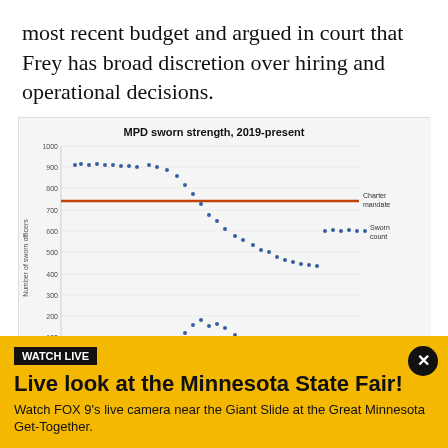most recent budget and argued in court that Frey has broad discretion over hiring and operational decisions.
[Figure (line-chart): MPD sworn strength, 2019-present]
The following data comes from the State of Minnesota and...
WATCH LIVE
Live look at the Minnesota State Fair!
Watch FOX 9's live camera near the Giant Slide at the Great Minnesota Get-Together.